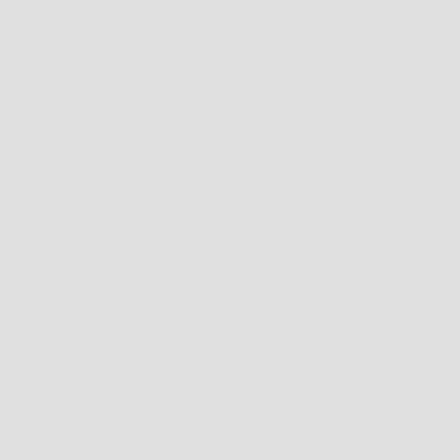]
| Thar'Ga = [[File:Thar'Ga'tok launcher.jpg|link=Thar'Ga'tok launcher|70px]] }}
| 16 = [[File:Laser_Heavy_Icon.png|link=Ion Emitter|Ion Emitter 17|70px]]
[[File:Plasmagun_Heavy_Icon.png|link=Si...